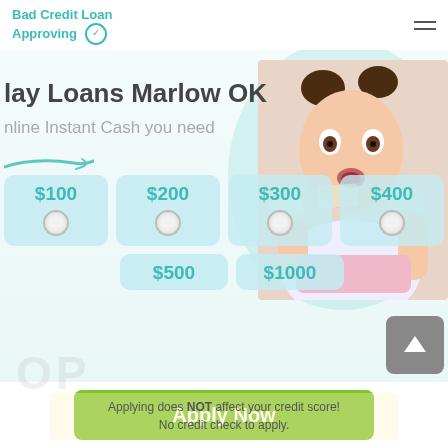Bad Credit Loan Approving
lay Loans Marlow OK
nline Instant Cash you need
[Figure (infographic): Loan amount selector showing $100, $200, $300, $400, $500, $1000 options with radio buttons and a woman holding money in background]
[Figure (illustration): Green Apply Now button]
Applying does NOT affect your credit score! No credit check to apply.